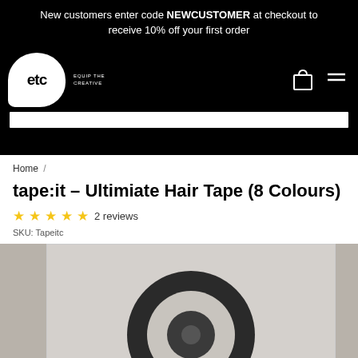New customers enter code NEWCUSTOMER at checkout to receive 10% off your first order
[Figure (logo): ETC Equip the Creative logo - white speech bubble shape with 'etc' text in black, on black navigation bar with cart and menu icons]
Home /
tape:it - Ultimiate Hair Tape (8 Colours)
★★★★★ 2 reviews
SKU: Tapeitc
[Figure (photo): Product photo showing a roll of black hair tape on a light grey background, partially cropped at bottom of page]